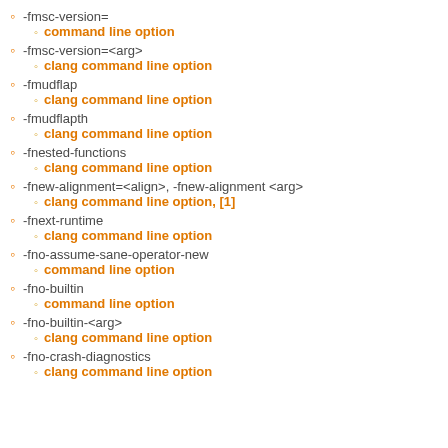-fmsc-version=
command line option
-fmsc-version=<arg>
clang command line option
-fmudflap
clang command line option
-fmudflapth
clang command line option
-fnested-functions
clang command line option
-fnew-alignment=<align>, -fnew-alignment <arg>
clang command line option, [1]
-fnext-runtime
clang command line option
-fno-assume-sane-operator-new
command line option
-fno-builtin
command line option
-fno-builtin-<arg>
clang command line option
-fno-crash-diagnostics
clang command line option